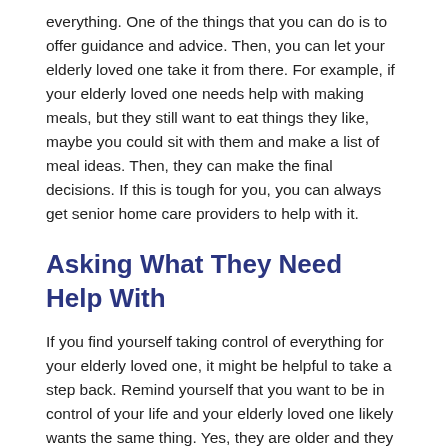everything. One of the things that you can do is to offer guidance and advice. Then, you can let your elderly loved one take it from there. For example, if your elderly loved one needs help with making meals, but they still want to eat things they like, maybe you could sit with them and make a list of meal ideas. Then, they can make the final decisions. If this is tough for you, you can always get senior home care providers to help with it.
Asking What They Need Help With
If you find yourself taking control of everything for your elderly loved one, it might be helpful to take a step back. Remind yourself that you want to be in control of your life and your elderly loved one likely wants the same thing. Yes, they are older and they need more help now. However, instead of taking over, it might be helpful to ask your elderly loved one what they need help with. They can even make a list of what they need assistance with. Then, you can help with the tasks you are capable of or